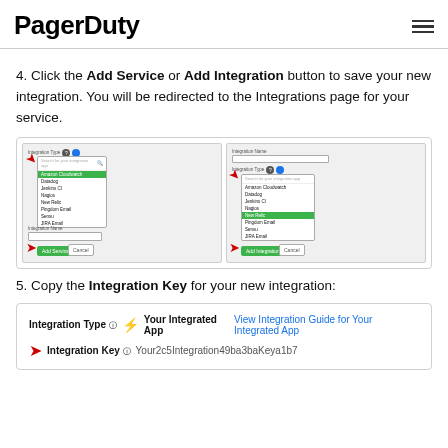PagerDuty
4. Click the Add Service or Add Integration button to save your new integration. You will be redirected to the Integrations page for your service.
[Figure (screenshot): Two side-by-side screenshots showing PagerDuty UI dropdowns with integration type selection. Left screenshot shows 'Amazon Cloudwatch' highlighted in green and 'Add Service' button. Right screenshot shows 'New Relic' highlighted in green and 'Add Integration' button. Red arrows point to the relevant UI elements.]
5. Copy the Integration Key for your new integration:
[Figure (screenshot): Screenshot showing Integration Type row with lightning bolt icon, 'Your Integrated App' text and 'View Integration Guide for Your Integrated App' link in blue. Below that is Integration Key row with red arrow pointing to the key value 'Your2c5Integration49ba3baKeya1b7'.]